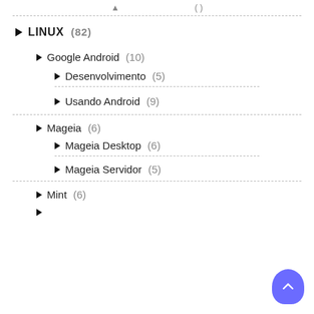LINUX (82)
Google Android (10)
Desenvolvimento (5)
Usando Android (9)
Mageia (6)
Mageia Desktop (6)
Mageia Servidor (5)
Mint (6)